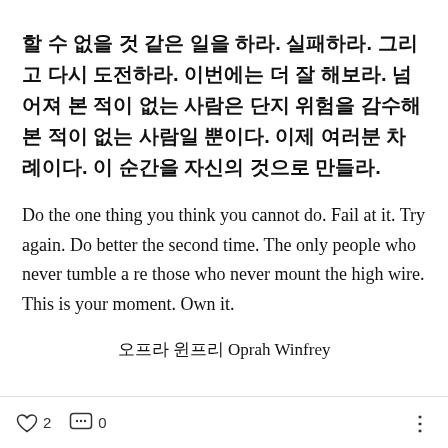할 수 없을 것 같은 일을 하라. 실패하라. 그리고 다시 도전하라. 이번에는 더 잘 해보라. 넘어져 본 적이 없는 사람은 단지 위험을 감수해 본 적이 없는 사람일 뿐이다. 이제 여러분 차례이다. 이 순간을 자신의 것으로 만들라.
Do the one thing you think you cannot do. Fail at it. Try again. Do better the second time. The only people who never tumble are those who never mount the high wire. This is your moment. Own it.
오프라 윈프리 Oprah Winfrey
♡ 2   💬 0   ⋮